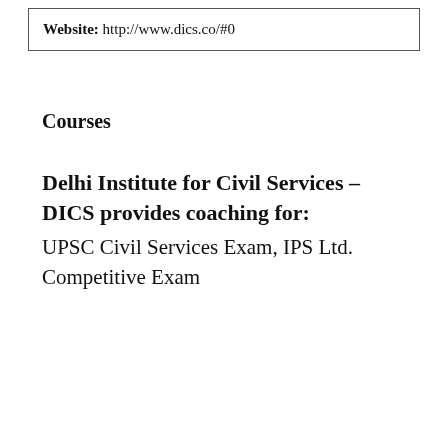Website: http://www.dics.co/#0
Courses
Delhi Institute for Civil Services – DICS provides coaching for: UPSC Civil Services Exam, IPS Ltd. Competitive Exam